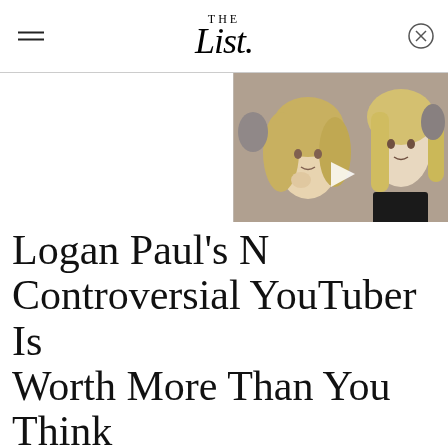THE List
[Figure (photo): Video thumbnail showing two women, one with blonde wavy hair touching her ear, another with straight blonde hair, with a play button overlay]
Logan Paul's N... Controversial YouTuber Is Worth More Than You Think
[Figure (photo): Photo of Logan Paul, a young man with blonde hair and reddish-brown beard, looking upward, against a dark brick wall background]